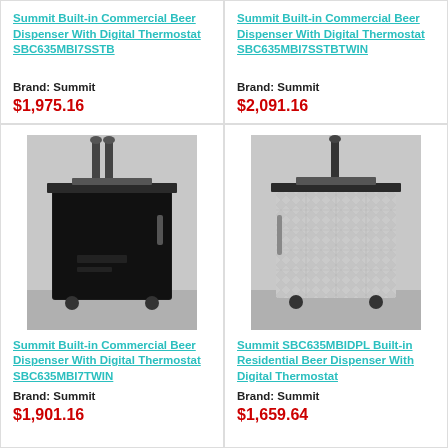Summit Built-in Commercial Beer Dispenser With Digital Thermostat SBC635MBI7SSTB
Brand: Summit
$1,975.16
Summit Built-in Commercial Beer Dispenser With Digital Thermostat SBC635MBI7SSTBTWIN
Brand: Summit
$2,091.16
[Figure (photo): Black Summit beer dispenser kegerator with twin tap on top]
Summit Built-in Commercial Beer Dispenser With Digital Thermostat SBC635MBI7TWIN
Brand: Summit
$1,901.16
[Figure (photo): Summit beer dispenser with diamond plate stainless steel door and single tap]
Summit SBC635MBIDPL Built-in Residential Beer Dispenser With Digital Thermostat
Brand: Summit
$1,659.64